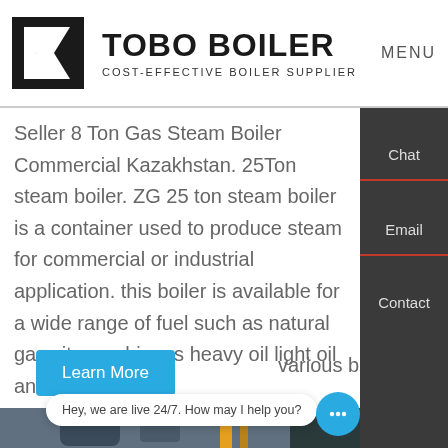TOBO BOILER — COST-EFFECTIVE BOILER SUPPLIER | MENU
Seller 8 Ton Gas Steam Boiler Commercial Kazakhstan. 25Ton steam boiler. ZG 25 ton steam boiler is a container used to produce steam for commercial or industrial application. this boiler is available for a wide range of fuel such as natural gas city gas biogas heavy oil light oil and various biomass.
[Figure (photo): Industrial gas steam boiler equipment in a facility showing blue boiler unit, yellow gas pipes, and associated industrial equipment]
Hey, we are live 24/7. How may I help you?